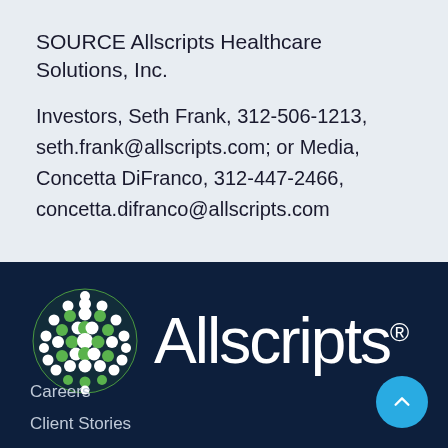SOURCE Allscripts Healthcare Solutions, Inc.
Investors, Seth Frank, 312-506-1213, seth.frank@allscripts.com; or Media, Concetta DiFranco, 312-447-2466, concetta.difranco@allscripts.com
[Figure (logo): Allscripts logo on dark navy background — green dotted globe sphere on left, white 'Allscripts®' text on right]
Careers
Client Stories